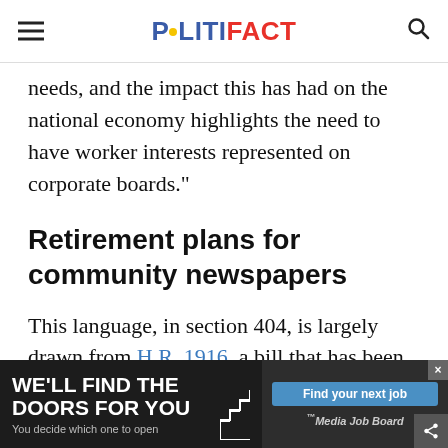POLITIFACT
needs, and the impact this has had on the national economy highlights the need to have worker interests represented on corporate boards."
Retirement plans for community newspapers
This language, in section 404, is largely drawn from H.R. 1916, a bill that has been introduced but not advanced. The bill would change rules for community newspapers' defined-ben[efit] pensi[on plans]
[Figure (screenshot): Advertisement banner at the bottom: 'WE'LL FIND THE DOORS FOR YOU – You decide which one to open' on dark background, with 'Find your next job' button and Media Job Board logo on the right side.]